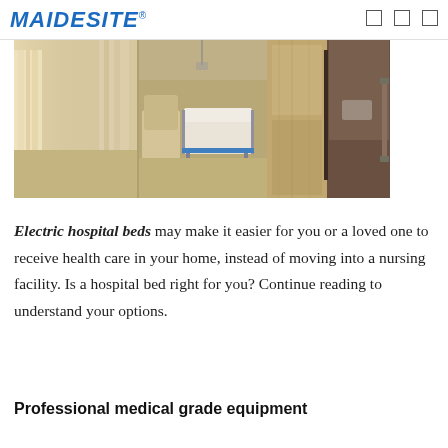MAIDESITE ®
[Figure (photo): Hospital room photo showing an electric adjustable hospital bed with white linens, a beige armchair beside it, wooden room divider panels, and a bathroom visible in the background. Natural light from a curtained window on the left.]
Electric hospital beds may make it easier for you or a loved one to receive health care in your home, instead of moving into a nursing facility. Is a hospital bed right for you? Continue reading to understand your options.
Professional medical grade equipment